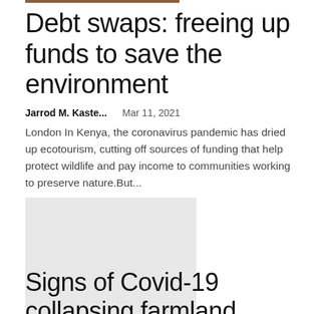Debt swaps: freeing up funds to save the environment
Jarrod M. Kaste...   Mar 11, 2021
London In Kenya, the coronavirus pandemic has dried up ecotourism, cutting off sources of funding that help protect wildlife and pay income to communities working to preserve nature.But...
[Figure (photo): Gray placeholder thumbnail image for article]
Signs of Covid-19 collapsing farmland prices in Indiana